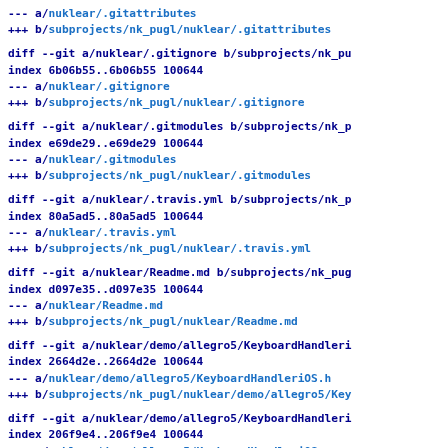--- a/nuklear/.gitattributes
+++ b/subprojects/nk_pugl/nuklear/.gitattributes
diff --git a/nuklear/.gitignore b/subprojects/nk_pu
index 6b06b55..6b06b55 100644
--- a/nuklear/.gitignore
+++ b/subprojects/nk_pugl/nuklear/.gitignore
diff --git a/nuklear/.gitmodules b/subprojects/nk_p
index e69de29..e69de29 100644
--- a/nuklear/.gitmodules
+++ b/subprojects/nk_pugl/nuklear/.gitmodules
diff --git a/nuklear/.travis.yml b/subprojects/nk_p
index 80a5ad5..80a5ad5 100644
--- a/nuklear/.travis.yml
+++ b/subprojects/nk_pugl/nuklear/.travis.yml
diff --git a/nuklear/Readme.md b/subprojects/nk_pug
index d097e35..d097e35 100644
--- a/nuklear/Readme.md
+++ b/subprojects/nk_pugl/nuklear/Readme.md
diff --git a/nuklear/demo/allegro5/KeyboardHandleri
index 2664d2e..2664d2e 100644
--- a/nuklear/demo/allegro5/KeyboardHandleriOS.h
+++ b/subprojects/nk_pugl/nuklear/demo/allegro5/Key
diff --git a/nuklear/demo/allegro5/KeyboardHandleri
index 206f9e4..206f9e4 100644
--- a/nuklear/demo/allegro5/KeyboardHandleriOS.m